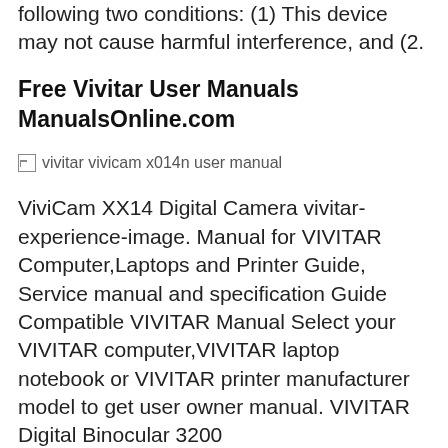following two conditions: (1) This device may not cause harmful interference, and (2.
Free Vivitar User Manuals ManualsOnline.com
[Figure (photo): Broken image placeholder with alt text: vivitar vivicam x014n user manual]
ViviCam XX14 Digital Camera vivitar-experience-image. Manual for VIVITAR Computer,Laptops and Printer Guide, Service manual and specification Guide Compatible VIVITAR Manual Select your VIVITAR computer,VIVITAR laptop notebook or VIVITAR printer manufacturer model to get user owner manual. VIVITAR Digital Binocular 3200